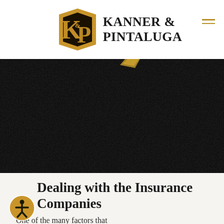[Figure (logo): Kanner & Pintaluga law firm logo with stylized K&P monogram in gold and black, and firm name in bold serif text]
[Figure (photo): Dark textured background image, close-up of rough black surface with small gold/yellow element visible at top]
Dealing with the Insurance Companies
One of the many factors that